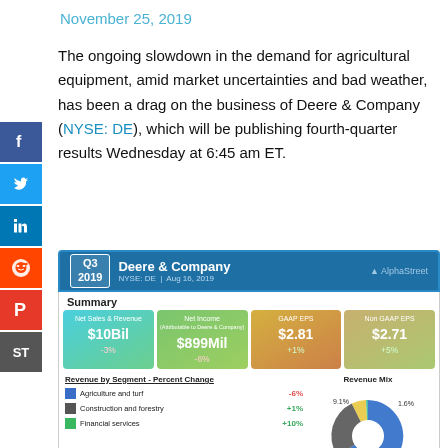November 25, 2019
The ongoing slowdown in the demand for agricultural equipment, amid market uncertainties and bad weather, has been a drag on the business of Deere & Company (NYSE: DE), which will be publishing fourth-quarter results Wednesday at 6:45 am ET.
[Figure (infographic): AlphaStreet Q3 2019 summary card for Deere & Company (NYSE: DE, Aug 16 2019) showing Net Sales & Revenue $10Bil (-3%), Net Income $899Mil (-6%), GAAP EPS $2.81 (+1%), Non GAAP EPS $2.71 (+5%). Revenue by Segment Percent Change: Agriculture and turf -6%, Construction and forestry +1%, Financial services +10%. Revenue Mix donut chart with segments labeled 9.1%, 1.6%, 20.1%, 59.2%.]